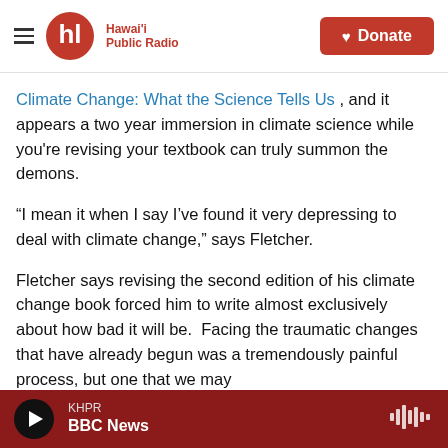Hawai'i Public Radio — Donate
Climate Change: What the Science Tells Us , and it appears a two year immersion in climate science while you're revising your textbook can truly summon the demons.
“I mean it when I say I’ve found it very depressing to deal with climate change,” says Fletcher.
Fletcher says revising the second edition of his climate change book forced him to write almost exclusively about how bad it will be.  Facing the traumatic changes that have already begun was a tremendously painful process, but one that we may
KHPR — BBC News